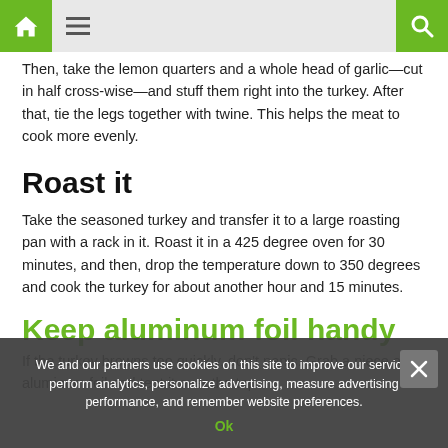Navigation bar with home icon, menu icon, and search icon
Then, take the lemon quarters and a whole head of garlic—cut in half cross-wise—and stuff them right into the turkey. After that, tie the legs together with twine. This helps the meat to cook more evenly.
Roast it
Take the seasoned turkey and transfer it to a large roasting pan with a rack in it. Roast it in a 425 degree oven for 30 minutes, and then, drop the temperature down to 350 degrees and cook the turkey for about another hour and 15 minutes.
Keep aluminum foil handy
If the turkey browns too quickly, don't panic. Grab a piece of aluminum foil and tent it over the top.
We and our partners use cookies on this site to improve our service, perform analytics, personalize advertising, measure advertising performance, and remember website preferences.
Ok